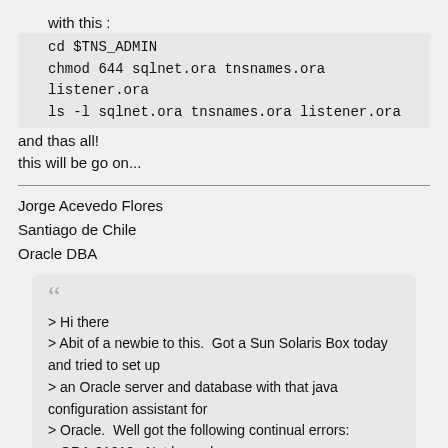with this :
cd $TNS_ADMIN
chmod 644 sqlnet.ora tnsnames.ora listener.ora
ls -l sqlnet.ora tnsnames.ora listener.ora
and thas all!
this will be go on...
Jorge Acevedo Flores
Santiago de Chile
Oracle DBA
> Hi there
> Abit of a newbie to this.  Got a Sun Solaris Box today and tried to set up
> an Oracle server and database with that java configuration assistant for
> Oracle.  Well got the following continual errors:
> ORA-01012 : Not logged on
> ORA-01031 : Insufficient privileges
> ORA-27101 : Shared memory realm does not exist
> Well I have since read that I should have set up raw devices in the solaris
> /dev directory (remember im new to this), because installing Oracle 8.1.7